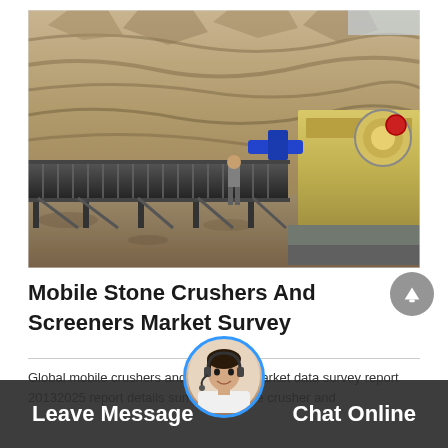[Figure (photo): A mobile stone crusher and conveyor belt at a quarry/mining site. A worker stands near the conveyor belt. A yellow jaw crusher machine is visible on the right. Rocky hillside in the background.]
Mobile Stone Crushers And Screeners Market Survey
Global mobile crushers and screeners market data survey report 20132025 report details summary mobile crusher and